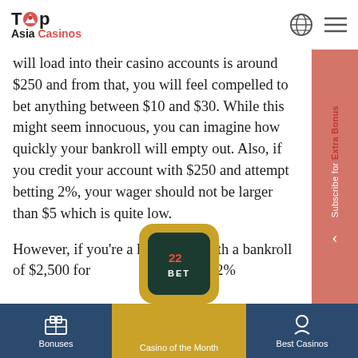Top Asia Casinos
will load into their casino accounts is around $250 and from that, you will feel compelled to bet anything between $10 and $30. While this might seem innocuous, you can imagine how quickly your bankroll will empty out. Also, if you credit your account with $250 and attempt betting 2%, your wager should not be larger than $5 which is quite low.
However, if you’re a high roller with a bankroll of $2,500 for [partially obscured] ng 2%
[Figure (logo): 22BET casino logo card, golden background, dark green rounded square with '22 BET' text]
Bonuses | Casino of the Month | Best Casinos